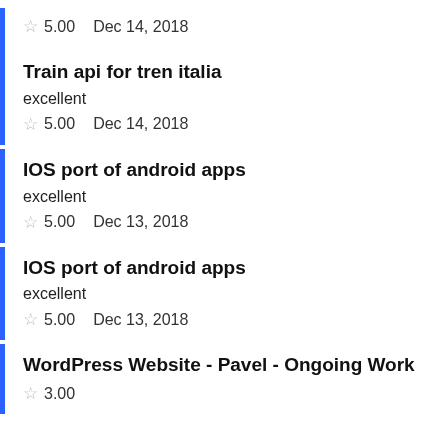☆ 5.00   Dec 14, 2018
Train api for tren italia
excellent
☆ 5.00   Dec 14, 2018
IOS port of android apps
excellent
☆ 5.00   Dec 13, 2018
IOS port of android apps
excellent
☆ 5.00   Dec 13, 2018
WordPress Website - Pavel - Ongoing Work
☆ 3.00